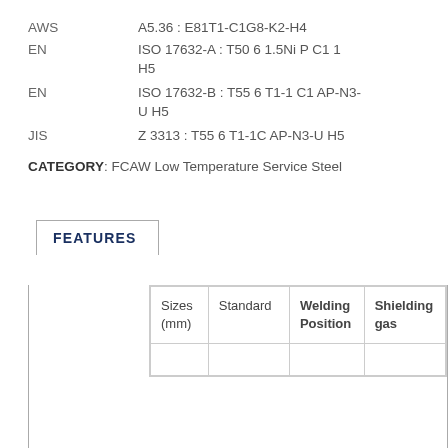AWS    A5.36 : E81T1-C1G8-K2-H4
EN    ISO 17632-A : T50 6 1.5Ni P C1 1 H5
EN    ISO 17632-B : T55 6 T1-1 C1 AP-N3-U H5
JIS    Z 3313 : T55 6 T1-1C AP-N3-U H5
CATEGORY: FCAW Low Temperature Service Steel
FEATURES
| Sizes (mm) | Standard | Welding Position | Shielding gas |
| --- | --- | --- | --- |